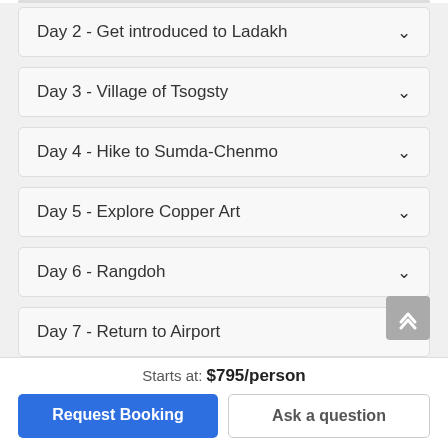Day 2 - Get introduced to Ladakh
Day 3 - Village of Tsogsty
Day 4 - Hike to Sumda-Chenmo
Day 5 - Explore Copper Art
Day 6 - Rangdoh
Day 7 - Return to Airport
Starts at: $795/person
Request Booking
Ask a question